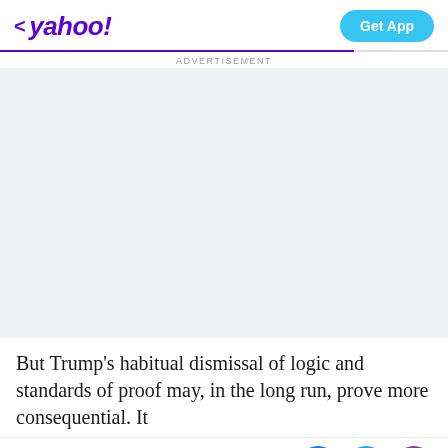< yahoo!  Get App
ADVERTISEMENT
[Figure (other): Advertisement placeholder area with light blue-grey background]
But Trump's habitual dismissal of logic and standards of proof may, in the long run, prove more consequential. It
View comments  [Facebook share] [Twitter share] [Email share]